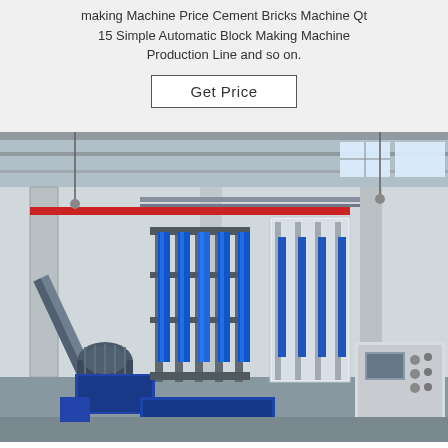making Machine Price Cement Bricks Machine Qt 15 Simple Automatic Block Making Machine Production Line and so on.
Get Price
[Figure (photo): Industrial factory interior showing an automatic block making machine production line with hydraulic systems, metal frames, conveyor, motor, and control panel. The facility has a large open warehouse structure with visible columns and skylights.]